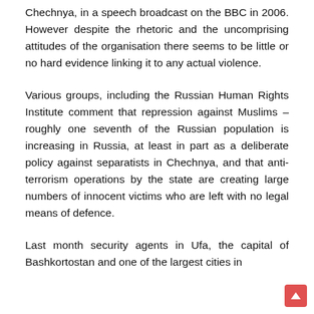Chechnya, in a speech broadcast on the BBC in 2006. However despite the rhetoric and the uncomprising attitudes of the organisation there seems to be little or no hard evidence linking it to any actual violence.
Various groups, including the Russian Human Rights Institute comment that repression against Muslims – roughly one seventh of the Russian population is increasing in Russia, at least in part as a deliberate policy against separatists in Chechnya, and that anti-terrorism operations by the state are creating large numbers of innocent victims who are left with no legal means of defence.
Last month security agents in Ufa, the capital of Bashkortostan and one of the largest cities in